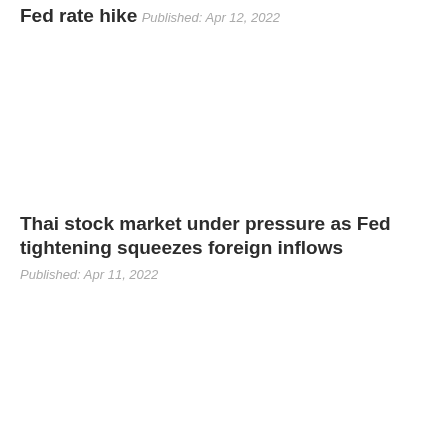Fed rate hike
Published: Apr 12, 2022
Thai stock market under pressure as Fed tightening squeezes foreign inflows
Published: Apr 11, 2022